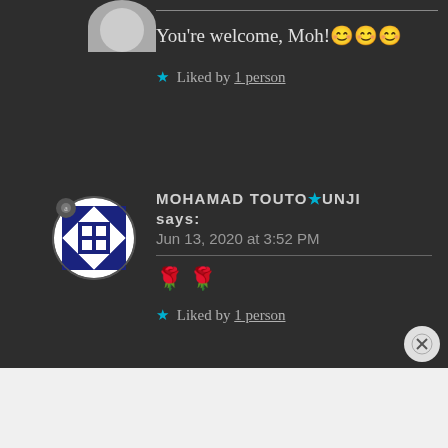You're welcome, Moh! 😊😊😊
★ Liked by 1 person
MOHAMAD TOUTOUNJI says:
Jun 13, 2020 at 3:52 PM
🌹 🌹
★ Liked by 1 person
Advertisements
AUT⊙MATTIC
Build a better web and a better world.